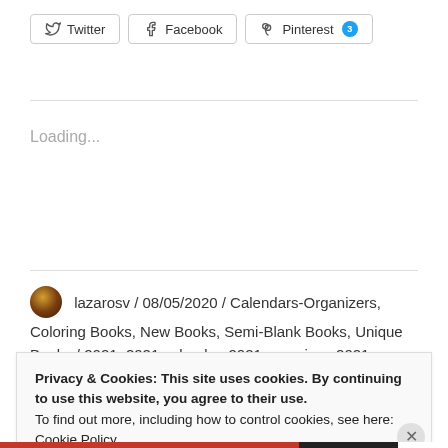[Figure (other): Social sharing buttons: Twitter, Facebook, Pinterest (with badge showing 3)]
Loading...
lazarosv / 08/05/2020 / Calendars-Organizers, Coloring Books, New Books, Semi-Blank Books, Unique Books / 2021, 2021 calendar, 2021 organizer, 2021 planner, nine planets, saturn, solar system / Leave a comment
Privacy & Cookies: This site uses cookies. By continuing to use this website, you agree to their use.
To find out more, including how to control cookies, see here:
Cookie Policy

Close and accept